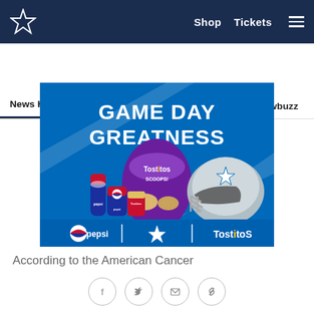Dallas Cowboys website header with logo, Shop, Tickets navigation
News Home  Updates  Mailbag  Rank'Em  Cowbuzz  Past/Pres
[Figure (illustration): Game Day Greatness advertisement featuring Pepsi and Tostitos Scoops products with a Dallas Cowboys football helmet. Text reads: GAME DAY GREATNESS. pepsi | Dallas Cowboys star | Tostitos. OFFICIAL SPONSORS OF THE DALLAS COWBOYS]
According to the American Cancer
[Figure (other): Social sharing icons row: Facebook, Twitter, Email, Link]